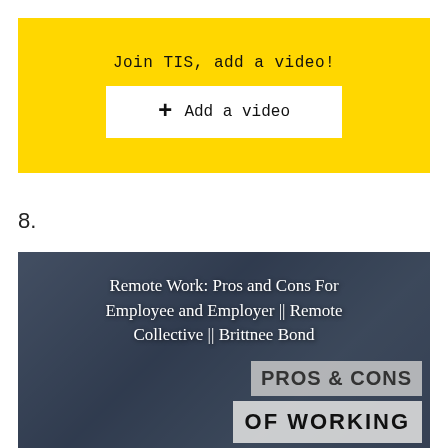[Figure (screenshot): Yellow call-to-action box with text 'Join TIS, add a video!' and a white button '+ Add a video']
8.
[Figure (screenshot): Thumbnail image for a video titled 'Remote Work: Pros and Cons For Employee and Employer || Remote Collective || Brittnee Bond' with overlaid text badges 'PROS & CONS' and 'OF WORKING']